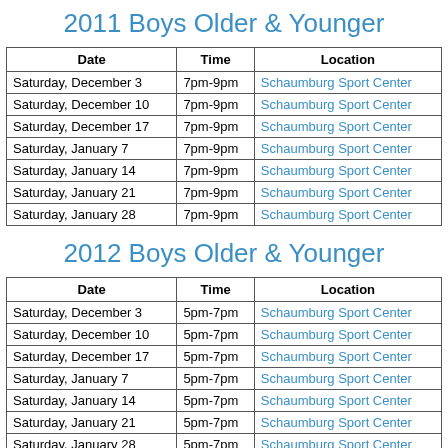2011 Boys Older & Younger
| Date | Time | Location |
| --- | --- | --- |
| Saturday, December 3 | 7pm-9pm | Schaumburg Sport Center |
| Saturday, December 10 | 7pm-9pm | Schaumburg Sport Center |
| Saturday, December 17 | 7pm-9pm | Schaumburg Sport Center |
| Saturday, January 7 | 7pm-9pm | Schaumburg Sport Center |
| Saturday, January 14 | 7pm-9pm | Schaumburg Sport Center |
| Saturday, January 21 | 7pm-9pm | Schaumburg Sport Center |
| Saturday, January 28 | 7pm-9pm | Schaumburg Sport Center |
2012 Boys Older & Younger
| Date | Time | Location |
| --- | --- | --- |
| Saturday, December 3 | 5pm-7pm | Schaumburg Sport Center |
| Saturday, December 10 | 5pm-7pm | Schaumburg Sport Center |
| Saturday, December 17 | 5pm-7pm | Schaumburg Sport Center |
| Saturday, January 7 | 5pm-7pm | Schaumburg Sport Center |
| Saturday, January 14 | 5pm-7pm | Schaumburg Sport Center |
| Saturday, January 21 | 5pm-7pm | Schaumburg Sport Center |
| Saturday, January 28 | 5pm-7pm | Schaumburg Sport Center |